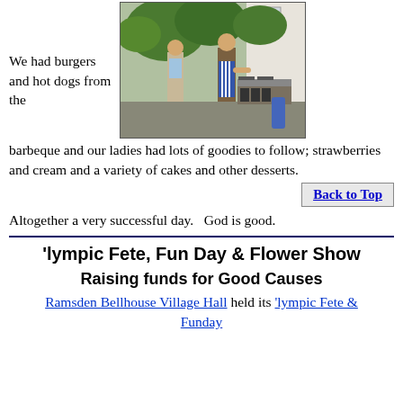[Figure (photo): Two men at a barbeque outdoors, one wearing a blue striped apron cooking food on a grill, surrounded by greenery and a white building.]
We had burgers and hot dogs from the barbeque and our ladies had lots of goodies to follow; strawberries and cream and a variety of cakes and other desserts.
Back to Top
Altogether a very successful day.   God is good.
'lympic Fete, Fun Day & Flower Show
Raising funds for Good Causes
Ramsden Bellhouse Village Hall held its 'lympic Fete & Funday